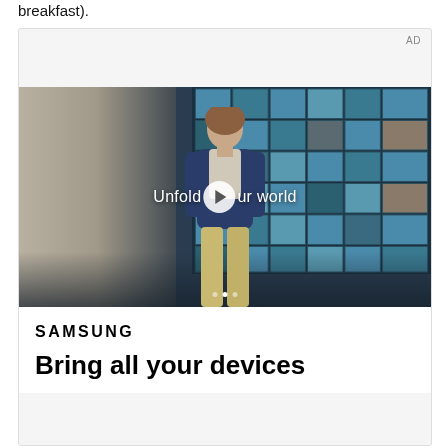breakfast).
[Figure (screenshot): Samsung advertisement with AD label in top right. Contains a video thumbnail showing a young man in a diner wearing a navy jacket with text 'Unfold your world' overlaid with a play button. Below the video is the Samsung logo and tagline 'Bring all your devices'.]